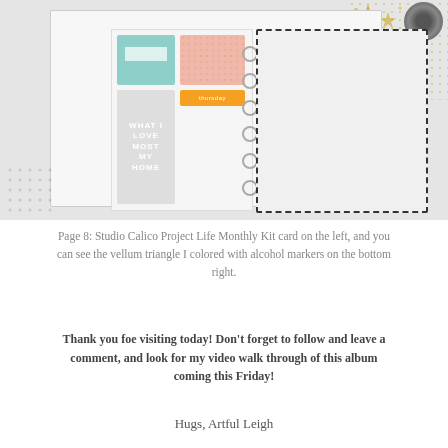[Figure (photo): A scrapbook/project life album open to show decorated pages with cards in teal, pink, and grey tones on the left page, and a black and white photo of a person on the right page with a yellow highlight bar. Ring binder visible in center. Gold star decorations and washi tape rolls visible in background.]
Page 8: Studio Calico Project Life Monthly Kit card on the left, and you can see the vellum triangle I colored with alcohol markers on the bottom right.
Thank you foe visiting today! Don’t forget to follow and leave a comment, and look for my video walk through of this album coming this Friday!
Hugs, Artful Leigh